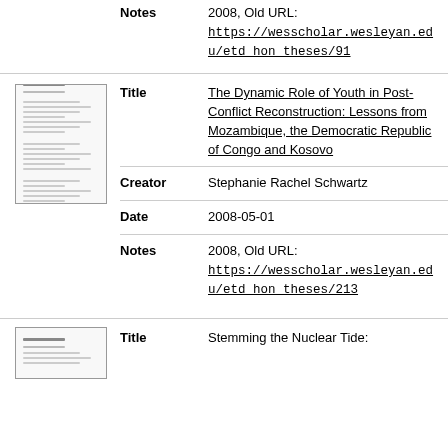Notes: 2008, Old URL: https://wesscholar.wesleyan.edu/etd_hon_theses/91
[Figure (other): Thumbnail image of a document/thesis cover page]
Title: The Dynamic Role of Youth in Post-Conflict Reconstruction: Lessons from Mozambique, the Democratic Republic of Congo and Kosovo
Creator: Stephanie Rachel Schwartz
Date: 2008-05-01
Notes: 2008, Old URL: https://wesscholar.wesleyan.edu/etd_hon_theses/213
[Figure (other): Thumbnail image of a document/thesis cover page]
Title: Stemming the Nuclear Tide: